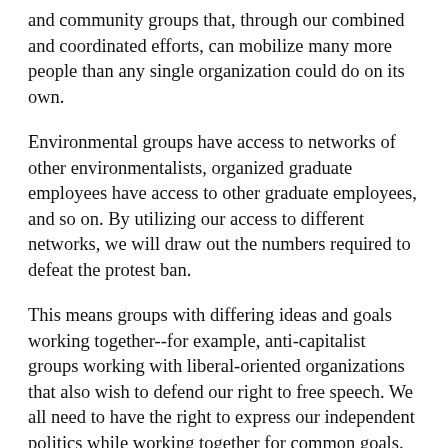and community groups that, through our combined and coordinated efforts, can mobilize many more people than any single organization could do on its own.
Environmental groups have access to networks of other environmentalists, organized graduate employees have access to other graduate employees, and so on. By utilizing our access to different networks, we will draw out the numbers required to defeat the protest ban.
This means groups with differing ideas and goals working together--for example, anti-capitalist groups working with liberal-oriented organizations that also wish to defend our right to free speech. We all need to have the right to express our independent politics while working together for common goals. As Russian revolutionary Leon Trotsky wrote, we can "march separately but strike together."